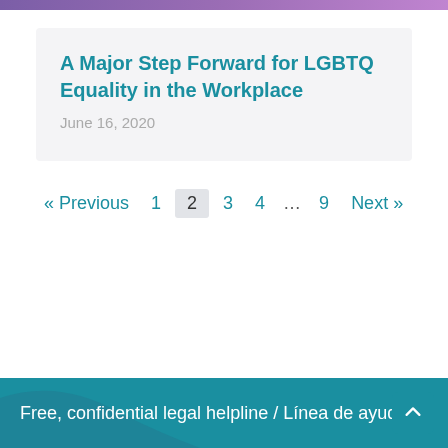A Major Step Forward for LGBTQ Equality in the Workplace
June 16, 2020
« Previous  1  2  3  4  …  9  Next »
Free, confidential legal helpline / Línea de ayuda